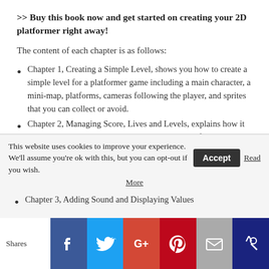>> Buy this book now and get started on creating your 2D platformer right away!
The content of each chapter is as follows:
Chapter 1, Creating a Simple Level, shows you how to create a simple level for a platformer game including a main character, a mini-map, platforms, cameras following the player, and sprites that you can collect or avoid.
Chapter 2, Managing Score, Lives and Levels, explains how it is possible to manage the score and the number of lives across your scenes; you will also learn how to
This website uses cookies to improve your experience. We'll assume you're ok with this, but you can opt-out if you wish. Accept Read More
Chapter 3, Adding Sound and Displaying Values